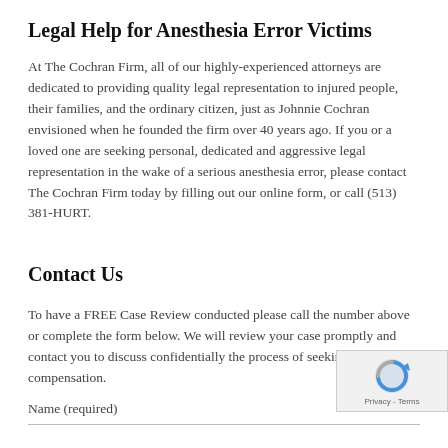Legal Help for Anesthesia Error Victims
At The Cochran Firm, all of our highly-experienced attorneys are dedicated to providing quality legal representation to injured people, their families, and the ordinary citizen, just as Johnnie Cochran envisioned when he founded the firm over 40 years ago. If you or a loved one are seeking personal, dedicated and aggressive legal representation in the wake of a serious anesthesia error, please contact The Cochran Firm today by filling out our online form, or call (513) 381-HURT.
Contact Us
To have a FREE Case Review conducted please call the number above or complete the form below. We will review your case promptly and contact you to discuss confidentially the process of seeking compensation.
Name (required)